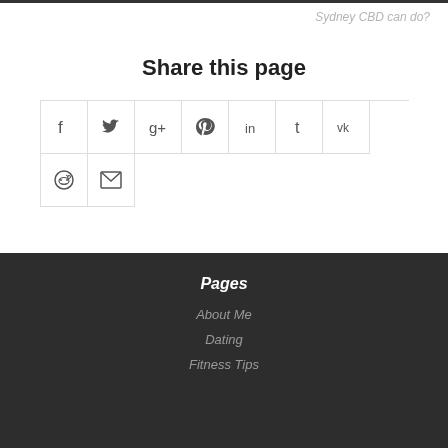Sydney CBD can do?
Share this page
[Figure (infographic): Social share buttons grid: Facebook, Twitter, Google+, Pinterest, LinkedIn, Tumblr, VK, Reddit, Email]
Pages
About Me
Dating
Fitness Tips